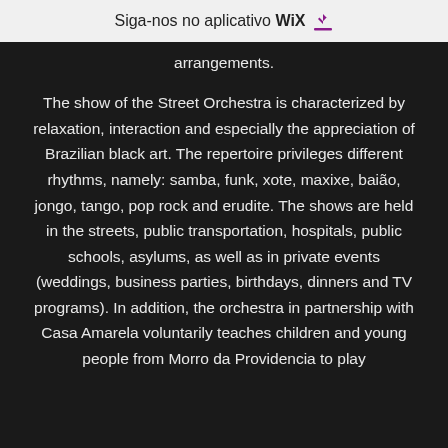Siga-nos no aplicativo WiX ↓
arrangements.
The show of the Street Orchestra is characterized by relaxation, interaction and especially the appreciation of Brazilian black art. The repertoire privileges different rhythms, namely: samba, funk, xote, maxixe, baião, jongo, tango, pop rock and erudite. The shows are held in the streets, public transportation, hospitals, public schools, asylums, as well as in private events (weddings, business parties, birthdays, dinners and TV programs). In addition, the orchestra in partnership with Casa Amarela voluntarily teaches children and young people from Morro da Providencia to play